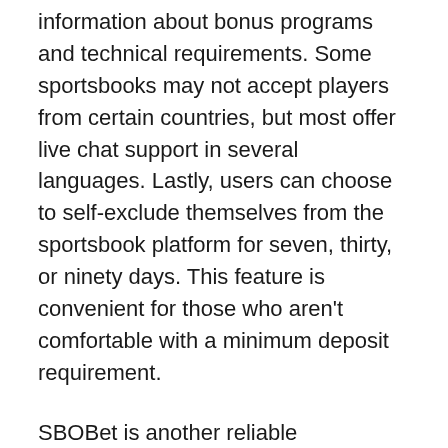information about bonus programs and technical requirements. Some sportsbooks may not accept players from certain countries, but most offer live chat support in several languages. Lastly, users can choose to self-exclude themselves from the sportsbook platform for seven, thirty, or ninety days. This feature is convenient for those who aren't comfortable with a minimum deposit requirement.
SBOBet is another reliable sportsbook. This sportsbook is licensed in the Isle of Man and has an outstanding reputation for customer service. It offers over 1500 live events each week and a natural, friendly interface. The website also accepts multiple currencies and languages. If you're new to online betting, check out SBOBet's